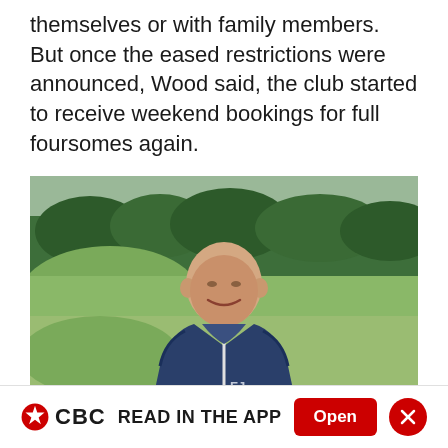themselves or with family members. But once the eased restrictions were announced, Wood said, the club started to receive weekend bookings for full foursomes again.
[Figure (photo): A bald middle-aged man in a navy blue zip-up jacket smiling, standing on a golf course with green fairway and trees in the background.]
CBC READ IN THE APP  Open